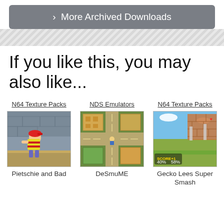> More Archived Downloads
If you like this, you may also like...
N64 Texture Packs
[Figure (photo): Screenshot of N64 game character (Ness from Earthbound) against stone wall background]
Pietschie and Bad
NDS Emulators
[Figure (photo): Screenshot of NDS game (Pokemon) showing top-down map view with character]
DeSmuME
N64 Texture Packs
[Figure (photo): Screenshot of Super Smash Bros game showing platform stage with 40% and 58% damage indicators]
Gecko Lees Super Smash